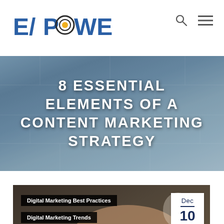E/POWER
8 ESSENTIAL ELEMENTS OF A CONTENT MARKETING STRATEGY
[Figure (screenshot): Website screenshot showing a blog article page with woman's hands typing on laptop keyboard in the background photo]
Digital Marketing Best Practices
Digital Marketing Trends
Dec 10 2018